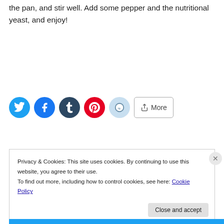the pan, and stir well. Add some pepper and the nutritional yeast, and enjoy!
[Figure (other): Social sharing buttons: Twitter (blue circle), Facebook (blue circle), Tumblr (dark circle), Pinterest (red circle), Reddit (light blue circle), and a More button]
Privacy & Cookies: This site uses cookies. By continuing to use this website, you agree to their use.
To find out more, including how to control cookies, see here: Cookie Policy
Close and accept